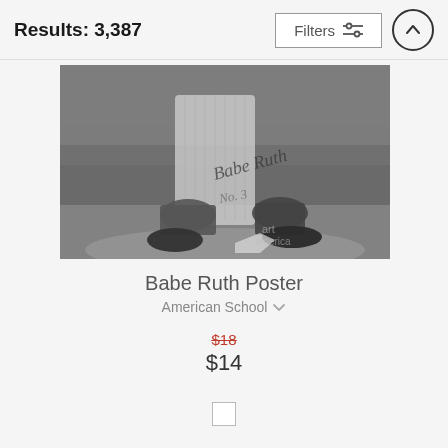Results: 3,387
[Figure (photo): Black and white photo of Babe Ruth in batting stance, wearing pinstripe Yankees uniform, signed with autograph. Art America watermark visible.]
Babe Ruth Poster
American School
$18  $14